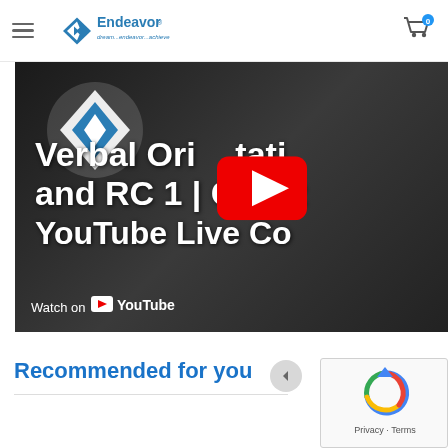Endeavor — dream...endeavor...achieve
[Figure (screenshot): YouTube video thumbnail showing 'Verbal Orientation and RC 1 | CAT 2... YouTube Live Co...' with a red YouTube play button overlay and 'Watch on YouTube' text at bottom left. The Endeavor logo (diamond shape with arrows) is visible in top left of the thumbnail.]
Recommended for you
[Figure (other): reCAPTCHA widget with rotating arrows logo and Privacy - Terms text]